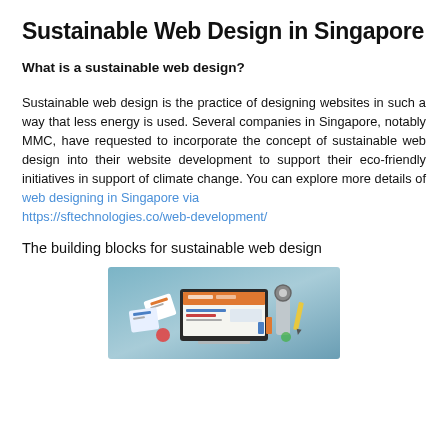Sustainable Web Design in Singapore
What is a sustainable web design?
Sustainable web design is the practice of designing websites in such a way that less energy is used. Several companies in Singapore, notably MMC, have requested to incorporate the concept of sustainable web design into their website development to support their eco-friendly initiatives in support of climate change. You can explore more details of web designing in Singapore via https://sftechnologies.co/web-development/
The building blocks for sustainable web design
[Figure (illustration): Illustration of a desktop monitor with web design elements and colorful items around it on a teal/gray background]